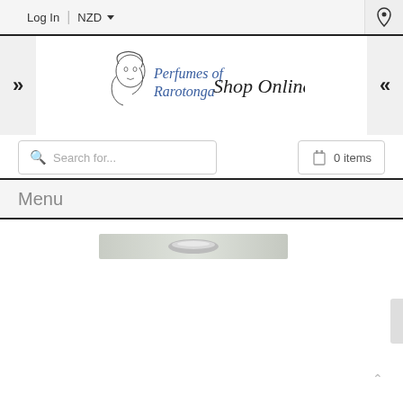Log In  |  NZD ▾
[Figure (logo): Perfumes of Rarotonga Shop Online logo with illustrated woman's face]
Search for...
0 items
Menu
[Figure (photo): Partial product image strip showing what appears to be a perfume bottle cap]